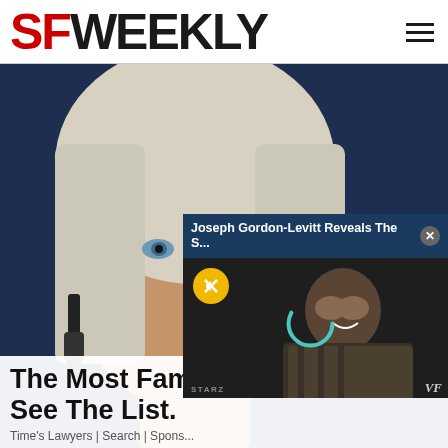SF WEEKLY
[Figure (photo): SF Weekly website screenshot showing a close-up photo of a blonde woman with blue eyes and dangling earrings against a dark blue background, with a video popup overlay showing Joseph Gordon-Levitt]
The Most Famous See The List.
Time's Lawyers | Search | Spons...